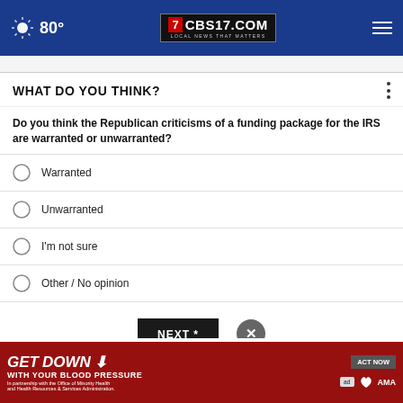80° CBS17.COM LOCAL NEWS THAT MATTERS
WHAT DO YOU THINK?
Do you think the Republican criticisms of a funding package for the IRS are warranted or unwarranted?
Warranted
Unwarranted
I'm not sure
Other / No opinion
[Figure (other): NEXT * button and X close button]
* By clicking NEXT, you agree to your responses being used...reach...
[Figure (other): GET DOWN WITH YOUR BLOOD PRESSURE advertisement banner with ACT NOW button, ad badge, American Heart Association and AMA logos]